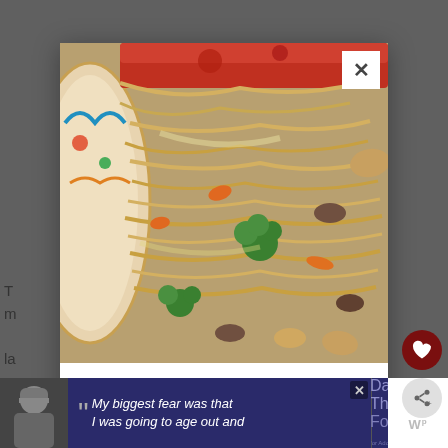[Figure (photo): A close-up photo of a stir-fry dish with noodles, broccoli, carrots, mushrooms, and chicken in a decorative bowl, overlaid as a modal popup on a webpage]
FREE MEMBERSHIP!
Get all our new recipes straight to your inbox - plus our most popular eBook of awesome dinner recipes!
[Figure (screenshot): Advertisement banner at the bottom showing a person in a beanie hat with text 'My biggest fear was that I was going to age out and' alongside Dave Thomas Foundation for Adoption logo]